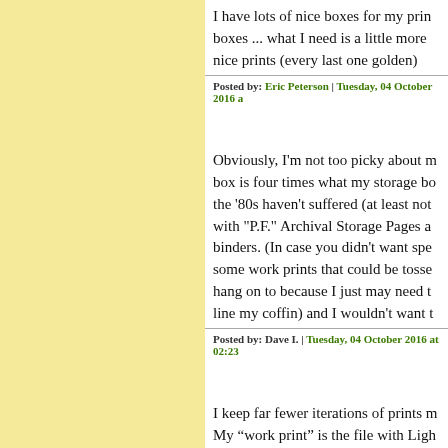I have lots of nice boxes for my prints ... boxes ... what I need is a little more nice prints (every last one golden)
Posted by: Eric Peterson | Tuesday, 04 October 2016 a
Obviously, I'm not too picky about m... box is four times what my storage bo... the '80s haven't suffered (at least not... with "P.F." Archival Storage Pages a... binders. (In case you didn't want spe... some work prints that could be tosse... hang on to because I just may need t... line my coffin) and I wouldn't want t
Posted by: Dave I. | Tuesday, 04 October 2016 at 02:23
I keep far fewer iterations of prints m... My “work print” is the file with Ligh... history and saved intermediate states